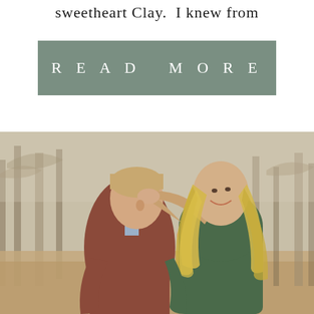sweetheart Clay.  I knew from
[Figure (other): Button with sage/muted green background reading READ MORE in white spaced serif letters]
[Figure (photo): A couple about to kiss outdoors in a park or orchard setting. The man wears a rust/burgundy blazer and the woman wears a dark green top with long blonde wavy hair. They are embracing with bare winter trees in the background.]